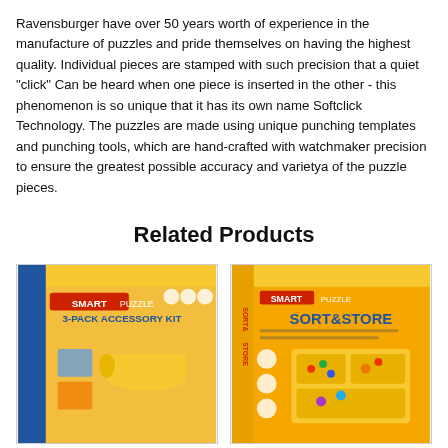Ravensburger have over 50 years worth of experience in the manufacture of puzzles and pride themselves on having the highest quality. Individual pieces are stamped with such precision that a quiet "click" Can be heard when one piece is inserted in the other - this phenomenon is so unique that it has its own name Softclick Technology. The puzzles are made using unique punching templates and punching tools, which are hand-crafted with watchmaker precision to ensure the greatest possible accuracy and varietya of the puzzle pieces.
Related Products
[Figure (photo): Smart Puzzle 3-Pack Accessory Kit product box showing puzzle mat, sorter trays, and accessories on yellow/orange box.]
[Figure (photo): Smart Puzzle Sort & Store product box showing sorting trays for puzzle pieces on yellow/orange box.]